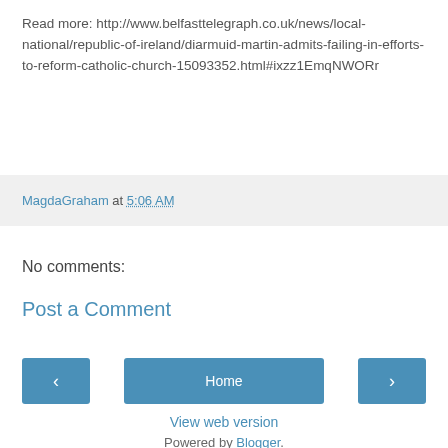Read more: http://www.belfasttelegraph.co.uk/news/local-national/republic-of-ireland/diarmuid-martin-admits-failing-in-efforts-to-reform-catholic-church-15093352.html#ixzz1EmqNWORr
MagdaGraham at 5:06 AM
No comments:
Post a Comment
Home
View web version
Powered by Blogger.